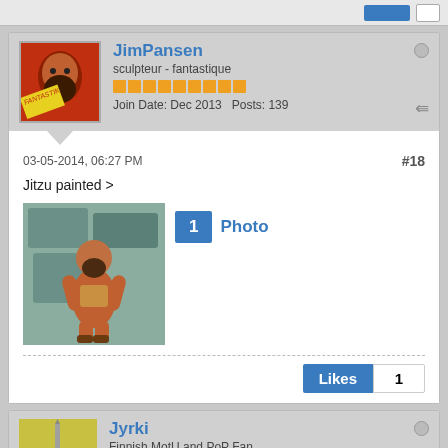[Figure (screenshot): Top bar with blue and white buttons]
JimPansen
sculpteur - fantastique
Join Date: Dec 2013   Posts: 139
03-05-2014, 06:27 PM
#18
Jitzu painted >
[Figure (photo): Photo of painted fantasy figure (muscular warrior) on stone background, with badge showing '1 Photo']
Likes  1
Jyrki
Finnish MotU and PoP Fan